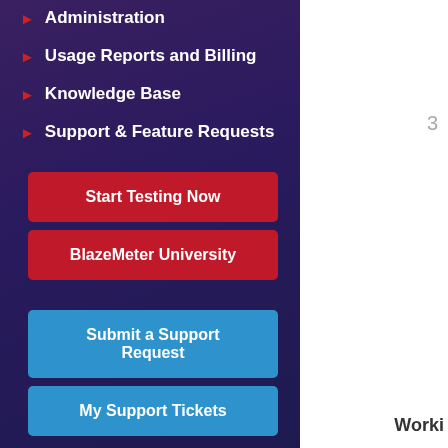Administration
Usage Reports and Billing
Knowledge Base
Support & Feature Requests
Start Testing Now
BlazeMeter University
Submit a Support Request
My Support Tickets
3
Worki